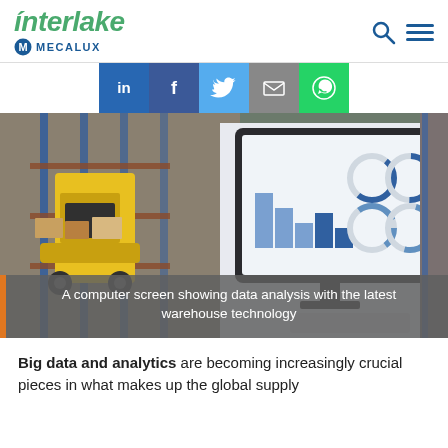Interlake Mecalux
[Figure (infographic): Social media sharing buttons: LinkedIn, Facebook, Twitter, Email, WhatsApp]
[Figure (photo): A computer screen showing data analysis with the latest warehouse technology, alongside warehouse racking with a forklift]
A computer screen showing data analysis with the latest warehouse technology
Big data and analytics are becoming increasingly crucial pieces in what makes up the global supply